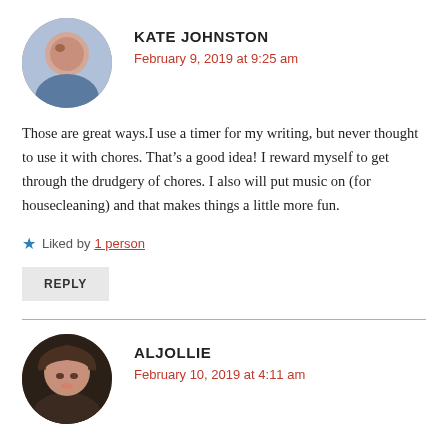KATE JOHNSTON
February 9, 2019 at 9:25 am
Those are great ways.I use a timer for my writing, but never thought to use it with chores. That’s a good idea! I reward myself to get through the drudgery of chores. I also will put music on (for housecleaning) and that makes things a little more fun.
Liked by 1 person
REPLY
ALJOLLIE
February 10, 2019 at 4:11 am